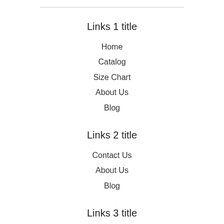Links 1 title
Home
Catalog
Size Chart
About Us
Blog
Links 2 title
Contact Us
About Us
Blog
Links 3 title
T-Shirts
Pillows
Blankets
Follow us
Enter Your Email Address